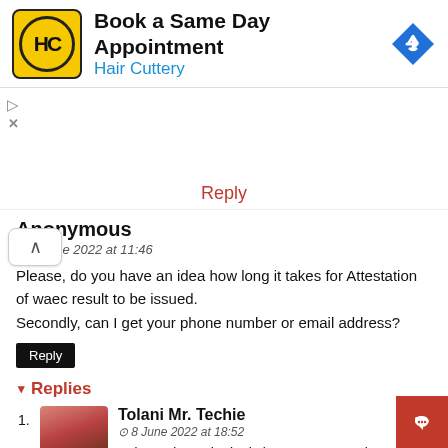[Figure (other): Hair Cuttery advertisement banner: Book a Same Day Appointment, Hair Cuttery logo and navigation arrow icon]
Reply
Anonymous
8 June 2022 at 11:46
Please, do you have an idea how long it takes for Attestation of waec result to be issued.
Secondly, can I get your phone number or email address?
Reply
Replies
Tolani Mr. Techie
8 June 2022 at 18:52
It depends on the logistics. It may not take more than a week except there is an official delay